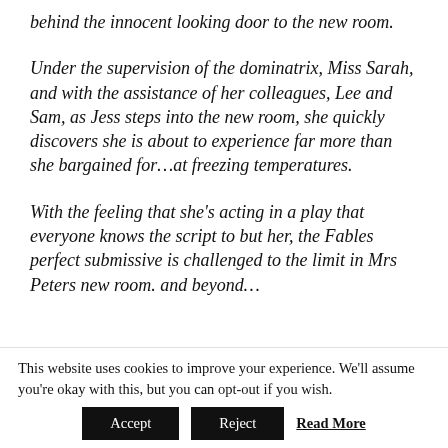behind the innocent looking door to the new room.
Under the supervision of the dominatrix, Miss Sarah, and with the assistance of her colleagues, Lee and Sam, as Jess steps into the new room, she quickly discovers she is about to experience far more than she bargained for…at freezing temperatures.
With the feeling that she’s acting in a play that everyone knows the script to but her, the Fables perfect submissive is challenged to the limit in Mrs Peters new room. and beyond…
This website uses cookies to improve your experience. We'll assume you're okay with this, but you can opt-out if you wish.